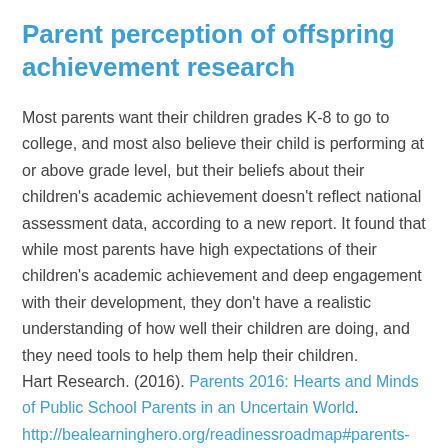Parent perception of offspring achievement research
Most parents want their children grades K-8 to go to college, and most also believe their child is performing at or above grade level, but their beliefs about their children's academic achievement doesn't reflect national assessment data, according to a new report. It found that while most parents have high expectations of their children's academic achievement and deep engagement with their development, they don't have a realistic understanding of how well their children are doing, and they need tools to help them help their children.
Hart Research. (2016). Parents 2016: Hearts and Minds of Public School Parents in an Uncertain World.
http://bealearninghero.org/readinessroadmap#parents-2016